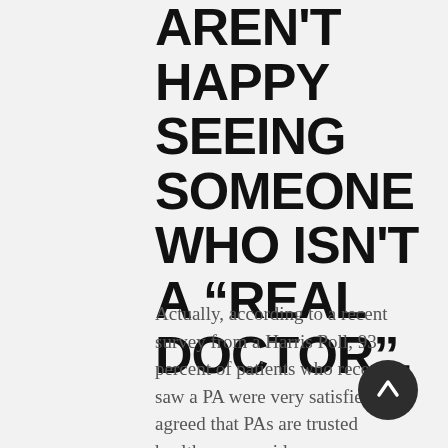AREN'T HAPPY SEEING SOMEONE WHO ISN'T A “REAL DOCTOR”.
Actually, according to a recent survey from a Harris Poll, 93 percent of patients who recently saw a PA were very satisfied agreed that PAs are trusted healthcare providers.
[Figure (other): Dark circular scroll-to-top button with an upward arrow]